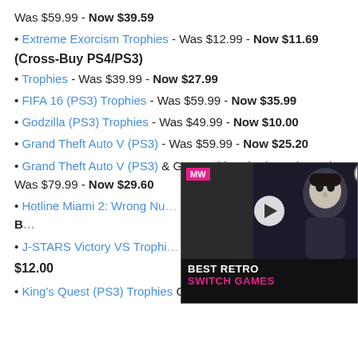Was $59.99 - Now $39.59
Extreme Exorcism Trophies - Was $12.99 - Now $11.69
(Cross-Buy PS4/PS3)
Trophies - Was $39.99 - Now $27.99
FIFA 16 (PS3) Trophies - Was $59.99 - Now $35.99
Godzilla (PS3) Trophies - Was $49.99 - Now $10.00
Grand Theft Auto V (PS3) - Was $59.99 - Now $25.20
Grand Theft Auto V (PS3) & Great White Shark Cash Card - Was $79.99 - Now $29.60
Hotline Miami 2: Wrong Number - Was $14.99 - Now $7.50 (Cross-Buy PS4/PS3/PS Vita)
J-STARS Victory VS Trophies - Now $12.00
King's Quest (PS3) Trophies Complete Collection - Was
[Figure (screenshot): Video advertisement overlay showing MW logo, a masked figure, play button, and text 'BEST RETRO SWITCH GAMES']